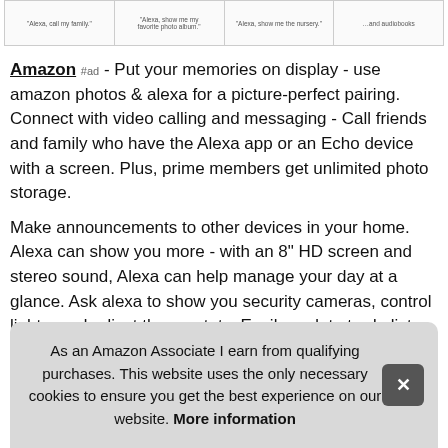[Figure (screenshot): Four product image cards in a row, each showing a small caption text]
Amazon #ad - Put your memories on display - use amazon photos & alexa for a picture-perfect pairing. Connect with video calling and messaging - Call friends and family who have the Alexa app or an Echo device with a screen. Plus, prime members get unlimited photo storage.
Make announcements to other devices in your home. Alexa can show you more - with an 8" HD screen and stereo sound, Alexa can help manage your day at a glance. Ask alexa to show you security cameras, control lights, and adjust thermostats. Easily update to-do lists and calendars.
Be e[cut off] pod[cut off]
As an Amazon Associate I earn from qualifying purchases. This website uses the only necessary cookies to ensure you get the best experience on our website. More information